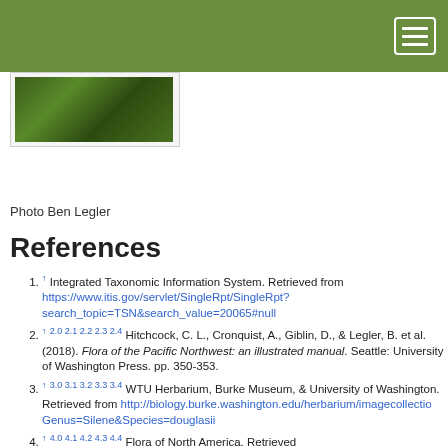Navigation bar with hamburger menu
[Figure (photo): Close-up photo of green plant leaves]
Photo Ben Legler
References
↑ Integrated Taxonomic Information System. Retrieved from https://www.itis.gov/servlet/SingleRpt/SingleRpt?search_topic=TSN&search_value=20065#null
↑ 2.0 2.1 2.2 2.3 2.4 Hitchcock, C. L., Cronquist, A., Giblin, D., & Legler, B. et al. (2018). Flora of the Pacific Northwest: an illustrated manual. Seattle: University of Washington Press. pp. 350-353.
↑ 3.0 3.1 3.2 3.3 3.4 WTU Herbarium, Burke Museum, & University of Washington. Retrieved from http://biology.burke.washington.edu/herbarium/imagecollection/Genus=Silene&Species=douglasii
↑ 4.0 4.1 4.2 4.3 4.4 Flora of North America. Retrieved